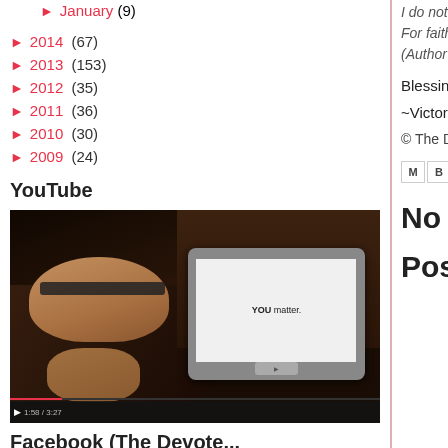► January (9)
► 2014 (67)
► 2013 (153)
► 2012 (35)
► 2011 (36)
► 2010 (30)
► 2009 (24)
YouTube
[Figure (screenshot): Embedded YouTube video showing a woman with glasses holding a tablet displaying 'YOU matter.' text, with video player controls at the bottom.]
Facebook (The Devote...
I do not know
For faith to me
(Author Unkno...
Blessings!
~Victoria
© The Devote...
No com...
Post a